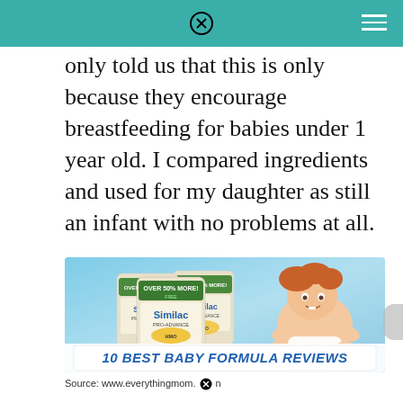only told us that this is only because they encourage breastfeeding for babies under 1 year old. I compared ingredients and used for my daughter as still an infant with no problems at all.
[Figure (photo): Advertisement image for Similac baby formula showing three Similac Pro-Advance formula canisters on the left and a smiling red-haired baby crawling on the right, against a blue gradient background. A banner at the bottom reads '10 BEST BABY FORMULA REVIEWS' in bold italic blue text on a white background.]
Source: www.everythingmom.❌n